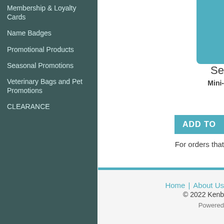Membership & Loyalty Cards
Name Badges
Promotional Products
Seasonal Promotions
Veterinary Bags and Pet Promotions
CLEARANCE
[Figure (other): Teal product image icon cropped at top right]
Se
Mini-
ADD TO
For orders that
Product Reviews
Rate This Product:
[Figure (other): Five grey star rating icons]
or Create a Review
(0 Ratings, 0 Reviews)
Home | About Us
© 2022 Kenb
Powered